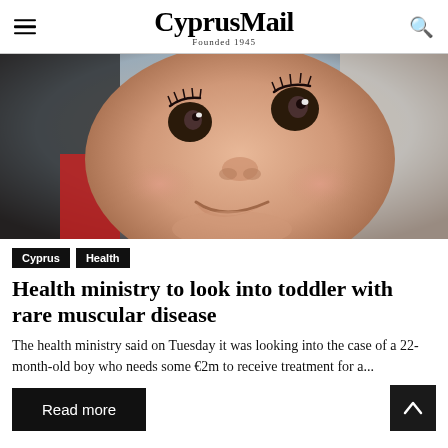CyprusMail Founded 1945
[Figure (photo): Close-up photo of a smiling toddler with large expressive eyes, looking upward, seated in what appears to be a supportive chair with red and black padding]
Cyprus   Health
Health ministry to look into toddler with rare muscular disease
The health ministry said on Tuesday it was looking into the case of a 22-month-old boy who needs some €2m to receive treatment for a...
Read more